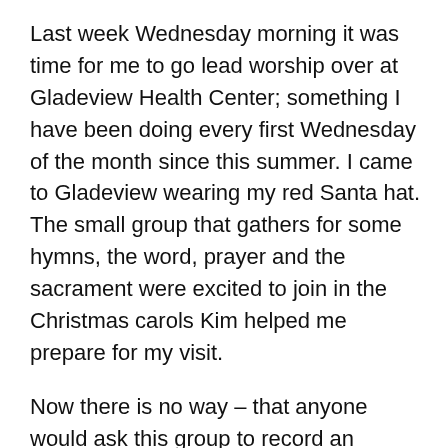Last week Wednesday morning it was time for me to go lead worship over at Gladeview Health Center; something I have been doing every first Wednesday of the month since this summer. I came to Gladeview wearing my red Santa hat. The small group that gathers for some hymns, the word, prayer and the sacrament were excited to join in the Christmas carols Kim helped me prepare for my visit.
Now there is no way – that anyone would ask this group to record an album. I often joke with them after they belt out a hymn that they should go on tour, but trust me, that is not something any of them would want to do! We sing a cappella. Different rhythms. Different keys. Different voices. Sometimes what we sing is even not close to the same pitch at all.
Yet our song is pure joy.